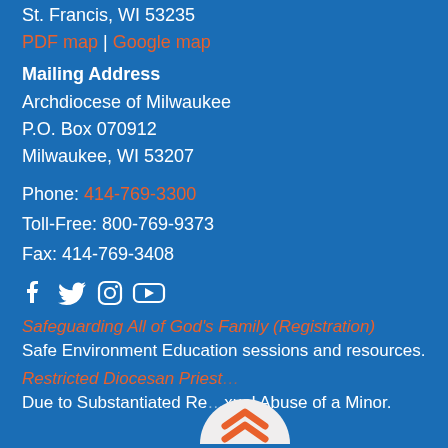St. Francis, WI 53235
PDF map | Google map
Mailing Address
Archdiocese of Milwaukee
P.O. Box 070912
Milwaukee, WI 53207
Phone: 414-769-3300
Toll-Free: 800-769-9373
Fax: 414-769-3408
[Figure (other): Social media icons: Facebook, Twitter, Instagram, YouTube]
Safeguarding All of God's Family (Registration)
Safe Environment Education sessions and resources.
Restricted Diocesan Priest...
Due to Substantiated Re... xual Abuse of a Minor.